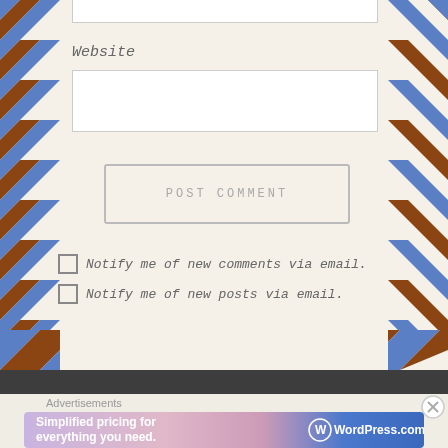[Figure (screenshot): Top of a web form showing a text input field (partially visible at top)]
Website
[Figure (screenshot): Website text input field, white background with light border]
POST COMMENT
Notify me of new comments via email.
Notify me of new posts via email.
Advertisements
[Figure (screenshot): WordPress.com advertisement banner: 'Simplified pricing for everything you need.' with WordPress.com logo]